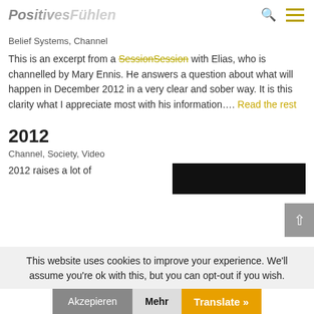PositivesFühlen
Belief Systems, Channel
This is an excerpt from a Session with Elias, who is channelled by Mary Ennis. He answers a question about what will happen in December 2012 in a very clear and sober way. It is this clarity what I appreciate most with his information…. Read the rest
2012
Channel, Society, Video
2012 raises a lot of
[Figure (screenshot): Dark/black thumbnail image]
This website uses cookies to improve your experience. We'll assume you're ok with this, but you can opt-out if you wish.
Akzepieren  Mehr  Translate »